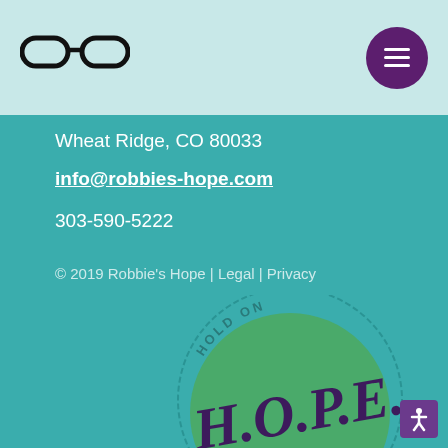[Figure (logo): Robbie's Hope glasses logo icon in black on light teal header bar]
[Figure (other): Purple circular hamburger menu button with three horizontal white lines]
Wheat Ridge, CO 80033
info@robbies-hope.com
303-590-5222
© 2019 Robbie's Hope | Legal | Privacy
[Figure (logo): H.O.P.E. logo on green circle with text 'HOLD ON' above and 'PAIN ENDS' below in teal circular stamp style]
[Figure (other): Accessibility icon button in purple square at bottom right corner]